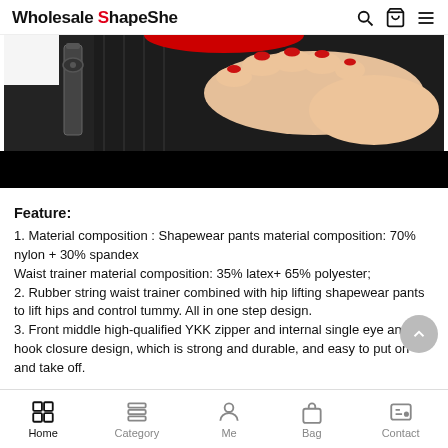Wholesale ShapeShe
[Figure (photo): Close-up photo of a hand with red nails touching a black zipper fabric item. Bottom portion is a solid black bar.]
Feature:
1. Material composition : Shapewear pants material composition: 70% nylon + 30% spandex
Waist trainer material composition: 35% latex+ 65% polyester;
2. Rubber string waist trainer combined with hip lifting shapewear pants to lift hips and control tummy. All in one step design.
3. Front middle high-qualified YKK zipper and internal single eye and hook closure design, which is strong and durable, and easy to put on and take off.
Home   Category   Me   Bag   Contact